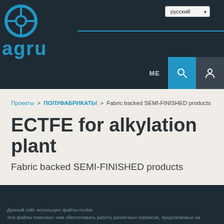[Figure (logo): AGRU company logo with blue circular target/crosshair icon and 'agru' wordmark in blue text on dark background header]
Проекты > ПОЛУФАБРИКАТЫ > Fabric backed SEMI-FINISHED products
ECTFE for alkylation plant
Fabric backed SEMI-FINISHED products
Данный сайт использует файлы cookie
Эти файлы помогают нам обеспечивать работу различных сервисов, предлагаемых на